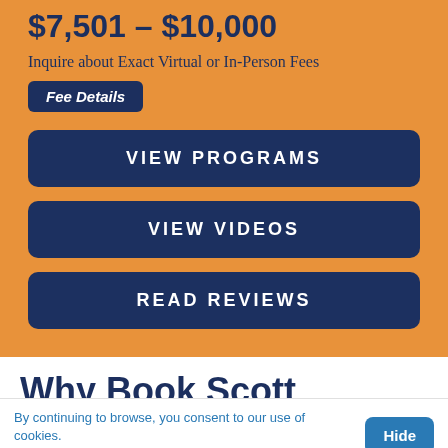$7,501 – $10,000
Inquire about Exact Virtual or In-Person Fees
Fee Details
VIEW PROGRAMS
VIEW VIDEOS
READ REVIEWS
Why Book Scott Greenberg?
* Scott Greenberg focuses on customer service...
By continuing to browse, you consent to our use of cookies. To know more, please view our Privacy Policy.
Hide